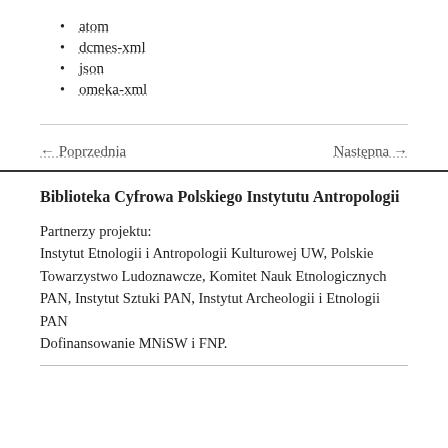atom
dcmes-xml
json
omeka-xml
← Poprzednia
Następna →
Biblioteka Cyfrowa Polskiego Instytutu Antropologii
Partnerzy projektu:
Instytut Etnologii i Antropologii Kulturowej UW, Polskie Towarzystwo Ludoznawcze, Komitet Nauk Etnologicznych PAN, Instytut Sztuki PAN, Instytut Archeologii i Etnologii PAN
Dofinansowanie MNiSW i FNP.